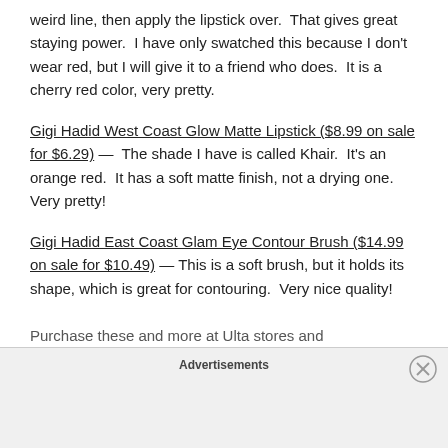weird line, then apply the lipstick over.  That gives great staying power.  I have only swatched this because I don't wear red, but I will give it to a friend who does.  It is a cherry red color, very pretty.
Gigi Hadid West Coast Glow Matte Lipstick ($8.99 on sale for $6.29) —  The shade I have is called Khair.  It's an orange red.  It has a soft matte finish, not a drying one.  Very pretty!
Gigi Hadid East Coast Glam Eye Contour Brush ($14.99 on sale for $10.49) — This is a soft brush, but it holds its shape, which is great for contouring.  Very nice quality!
Purchase these and more at Ulta stores and
Advertisements